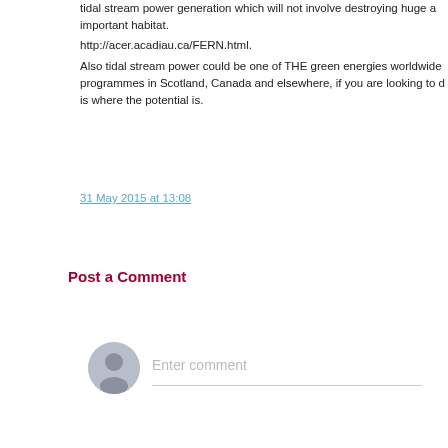tidal stream power generation which will not involve destroying huge amounts of important habitat.
http://acer.acadiau.ca/FERN.html.
Also tidal stream power could be one of THE green energies worldwide programmes in Scotland, Canada and elsewhere, if you are looking to de is where the potential is.
31 May 2015 at 13:08
Post a Comment
[Figure (illustration): User avatar placeholder icon — grey circle with silhouette of a person]
Enter comment